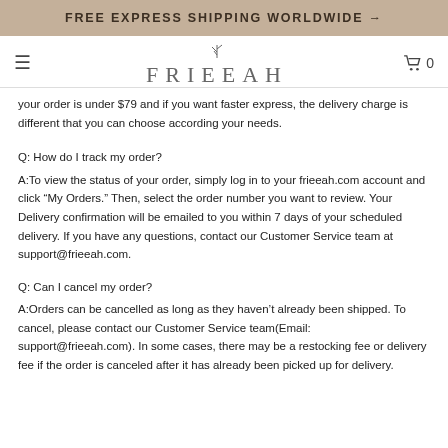FREE EXPRESS SHIPPING WORLDWIDE →
[Figure (logo): FRIEEAH brand logo with decorative plant icon above the letters]
your order is under $79 and if you want faster express, the delivery charge is different that you can choose according your needs.
Q: How do I track my order?
A:To view the status of your order, simply log in to your frieeah.com account and click "My Orders." Then, select the order number you want to review. Your Delivery confirmation will be emailed to you within 7 days of your scheduled delivery. If you have any questions, contact our Customer Service team at support@frieeah.com.
Q: Can I cancel my order?
A:Orders can be cancelled as long as they haven't already been shipped. To cancel, please contact our Customer Service team(Email: support@frieeah.com). In some cases, there may be a restocking fee or delivery fee if the order is canceled after it has already been picked up for delivery.